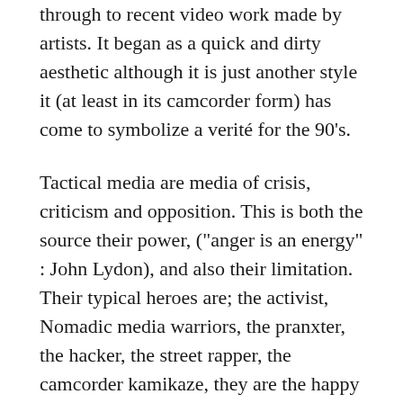through to recent video work made by artists. It began as a quick and dirty aesthetic although it is just another style it (at least in its camcorder form) has come to symbolize a verité for the 90's.
Tactical media are media of crisis, criticism and opposition. This is both the source their power, ("anger is an energy" : John Lydon), and also their limitation. Their typical heroes are; the activist, Nomadic media warriors, the pranxter, the hacker, the street rapper, the camcorder kamikaze, they are the happy negatives, always in search of an enemy. But once the enemy has been named and vanquished it is the tactical practitioner whose turn it is to fall into crisis. Then (despite their achievements) its easy to mock them, with catchphrases of the right, "politically correct" "Victim culture" etc